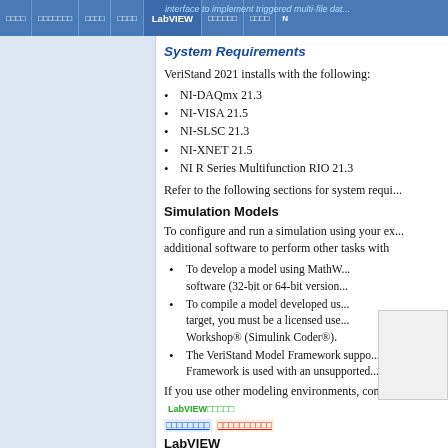interface to implement triggered multi-file data... | LabVIEW | [nav items]
System Requirements
VeriStand 2021 installs with the following:
NI-DAQmx 21.3
NI-VISA 21.5
NI-SLSC 21.3
NI-XNET 21.5
NI R Series Multifunction RIO 21.3
Refer to the following sections for system requi...
Simulation Models
To configure and run a simulation using your ex... additional software to perform other tasks with...
To develop a model using MathW... software (32-bit or 64-bit version...
To compile a model developed us... target, you must be a licensed use... Workshop® (Simulink Coder®).
The VeriStand Model Framework suppo... Framework is used with an unsupported...
If you use other modeling environments, contac...
LabVIEW
To create custom devices, menu items, worksp...